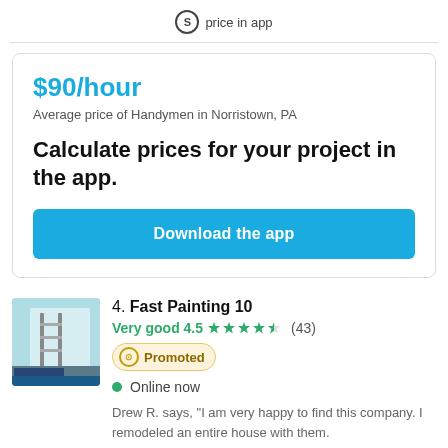price in app
$90/hour
Average price of Handymen in Norristown, PA
Calculate prices for your project in the app.
Download the app
4. Fast Painting 10
Very good 4.5 ★★★★½ (43)
Promoted
Online now
Drew R. says, "I am very happy to find this company. I remodeled an entire house with them.